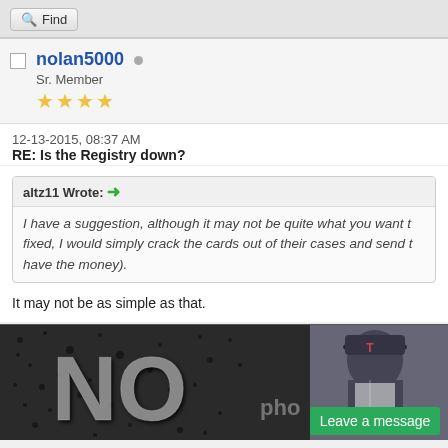[Figure (screenshot): Forum Find button in top toolbar]
nolan5000 Sr. Member ★★★★
12-13-2015, 08:37 AM
RE: Is the Registry down?
altz11 Wrote: → I have a suggestion, although it may not be quite what you want to fixed, I would simply crack the cards out of their cases and send t have the money).
It may not be as simple as that.
[Figure (photo): Forum user signature image showing large 'NO' text with dark speckled background, baseball player photo on right, and green Leave a message button]